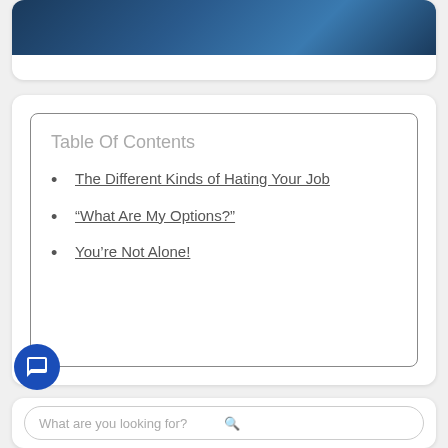[Figure (photo): Partial blue-toned image at top of card, cropped]
Table Of Contents
The Different Kinds of Hating Your Job
“What Are My Options?”
You’re Not Alone!
What are you looking for?